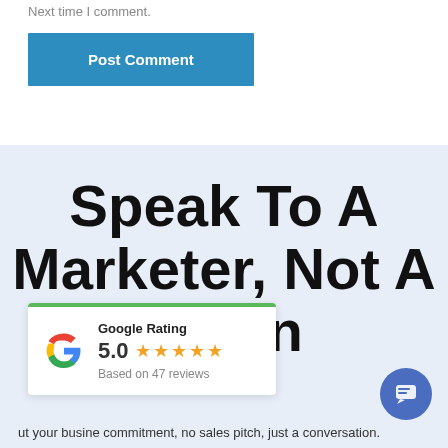Next time I comment.
Post Comment
Speak To A Marketer, Not A Person
[Figure (other): Google Rating widget showing 5.0 stars based on 47 reviews with Google G logo and green top border]
ut your business commitment, no sales pitch, just a conversation.